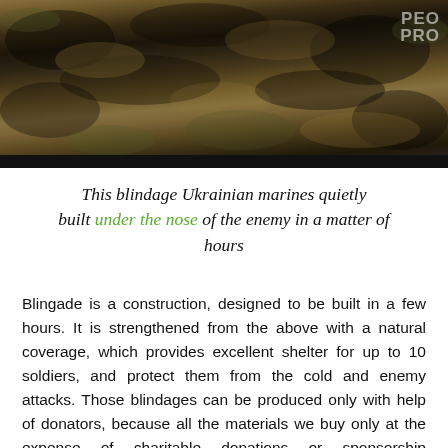[Figure (photo): Aerial or close-up photograph showing a camouflaged military blindage (dugout/shelter) built with natural earth and vegetation cover, dark soil visible, with a watermark reading 'PEO PRO' in the upper right corner.]
This blindage Ukrainian marines quietly built under the nose of the enemy in a matter of hours
Blingade is a construction, designed to be built in a few hours. It is strengthened from the above with a natural coverage, which provides excellent shelter for up to 10 soldiers, and protect them from the cold and enemy attacks. Those blindages can be produced only with help of donators, because all the materials we buy only at the expense of charitable donations or sponsorship contributions. Join The People's Blindage Project. Your donations save lives of